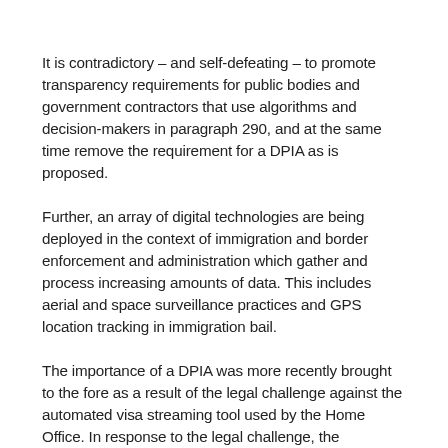It is contradictory – and self-defeating – to promote transparency requirements for public bodies and government contractors that use algorithms and decision-makers in paragraph 290, and at the same time remove the requirement for a DPIA as is proposed.
Further, an array of digital technologies are being deployed in the context of immigration and border enforcement and administration which gather and process increasing amounts of data. This includes aerial and space surveillance practices and GPS location tracking in immigration bail.
The importance of a DPIA was more recently brought to the fore as a result of the legal challenge against the automated visa streaming tool used by the Home Office. In response to the legal challenge, the government committed to redesigning the algorithm behind the...